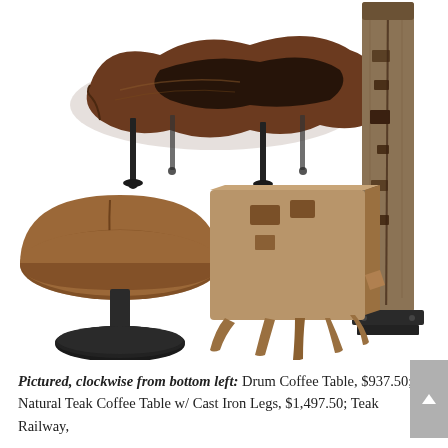[Figure (photo): Four rustic teak wood furniture and decor items on white background. Top left: a live-edge natural teak coffee table with cast iron legs. Top right: a tall teak railway post/beam on a metal base. Bottom left: a drum-shaped teak coffee table on a round iron pedestal base. Bottom center: a natural teak stump/block side table with root legs.]
Pictured, clockwise from bottom left: Drum Coffee Table, $937.50; Natural Teak Coffee Table w/ Cast Iron Legs, $1,497.50; Teak Railway,